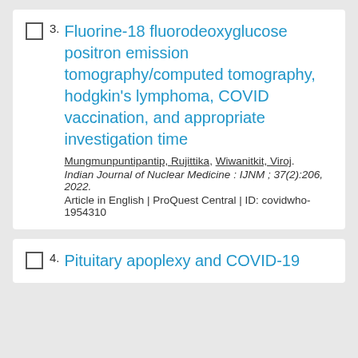3. Fluorine-18 fluorodeoxyglucose positron emission tomography/computed tomography, hodgkin's lymphoma, COVID vaccination, and appropriate investigation time
Mungmunpuntipantip, Rujittika, Wiwanitkit, Viroj.
Indian Journal of Nuclear Medicine : IJNM ; 37(2):206, 2022.
Article in English | ProQuest Central | ID: covidwho-1954310
4. Pituitary apoplexy and COVID-19